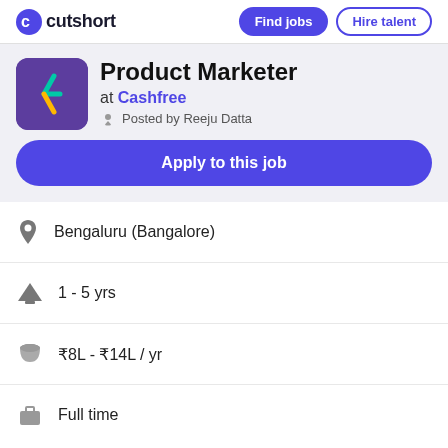cutshort | Find jobs | Hire talent
Product Marketer
at Cashfree
Posted by Reeju Datta
Apply to this job
Bengaluru (Bangalore)
1 - 5 yrs
₹8L - ₹14L / yr
Full time